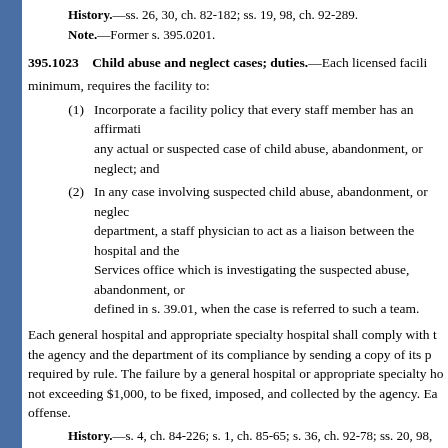History.—ss. 26, 30, ch. 82-182; ss. 19, 98, ch. 92-289.
Note.—Former s. 395.0201.
395.1023    Child abuse and neglect cases; duties.
Each licensed facility, at a minimum, requires the facility to:
(1)    Incorporate a facility policy that every staff member has an affirmative duty to report any actual or suspected case of child abuse, abandonment, or neglect; and
(2)    In any case involving suspected child abuse, abandonment, or neglect, designate, by department, a staff physician to act as a liaison between the hospital and the Human Services office which is investigating the suspected abuse, abandonment, or neglect, or the child protection team as defined in s. 39.01, when the case is referred to such a team.
Each general hospital and appropriate specialty hospital shall comply with the above and shall notify the agency and the department of its compliance by sending a copy of its policy and procedures as required by rule. The failure by a general hospital or appropriate specialty hospital to comply is subject to a fine not exceeding $1,000, to be fixed, imposed, and collected by the agency. Each day of violation constitutes a separate offense.
History.—s. 4, ch. 84-226; s. 1, ch. 85-65; s. 36, ch. 92-78; ss. 20, 98, ch. 92-289; s. 2, ch.
Note.—Former s. 395.0205.
395.1024    Patients consenting to adoptions; protocols.—
(1)    Each licensed facility shall adopt a protocol that at a minimum provides for the waiting periods, revocation and the contents of the consent to adoption as well as the supportive and unbiased manner in which facility staff will interact with